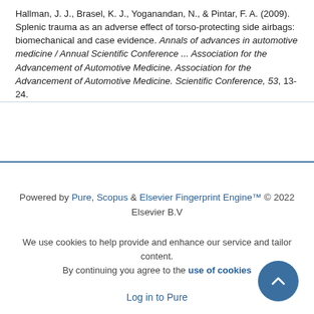Hallman, J. J., Brasel, K. J., Yoganandan, N., & Pintar, F. A. (2009). Splenic trauma as an adverse effect of torso-protecting side airbags: biomechanical and case evidence. Annals of advances in automotive medicine / Annual Scientific Conference ... Association for the Advancement of Automotive Medicine. Association for the Advancement of Automotive Medicine. Scientific Conference, 53, 13-24.
Powered by Pure, Scopus & Elsevier Fingerprint Engine™ © 2022 Elsevier B.V

We use cookies to help provide and enhance our service and tailor content. By continuing you agree to the use of cookies

Log in to Pure

About web accessibility